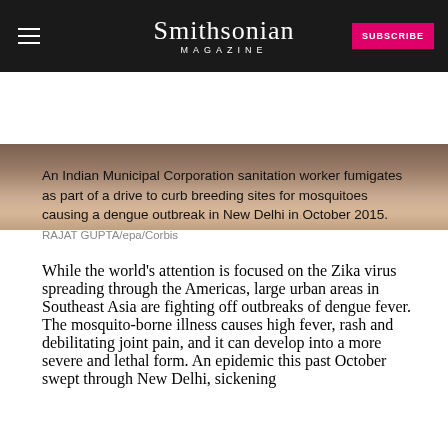Smithsonian MAGAZINE | SUBSCRIBE
[Figure (photo): Partial view of an Indian Municipal Corporation sanitation worker fumigating, cropped to show only the lower portion of the scene]
An Indian Municipal Corporation sanitation worker fumigates as part of a drive to curb breeding sites for mosquitoes causing a dengue outbreak in New Delhi in October 2015.
RAJAT GUPTA/epa/Corbis
While the world’s attention is focused on the Zika virus spreading through the Americas, large urban areas in Southeast Asia are fighting off outbreaks of dengue fever. The mosquito-borne illness causes high fever, rash and debilitating joint pain, and it can develop into a more severe and lethal form. An epidemic this past October swept through New Delhi, sickening